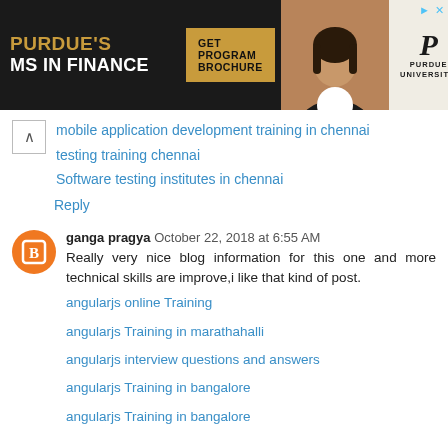[Figure (infographic): Purdue University MS in Finance advertisement banner with dark background, gold text, GET PROGRAM BROCHURE button, woman photo, and Purdue P logo]
mobile application development training in chennai
testing training chennai
Software testing institutes in chennai
Reply
ganga pragya  October 22, 2018 at 6:55 AM
Really very nice blog information for this one and more technical skills are improve,i like that kind of post.
angularjs online Training
angularjs Training in marathahalli
angularjs interview questions and answers
angularjs Training in bangalore
angularjs Training in bangalore